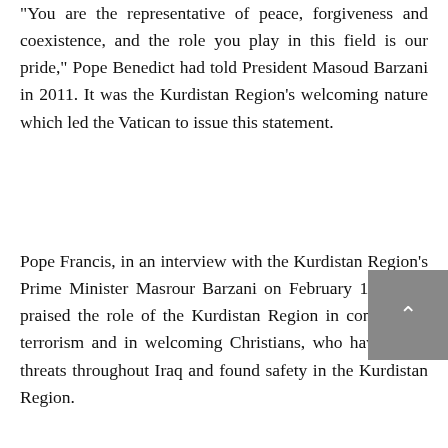“You are the representative of peace, forgiveness and coexistence, and the role you play in this field is our pride,” Pope Benedict had told President Masoud Barzani in 2011. It was the Kurdistan Region’s welcoming nature which led the Vatican to issue this statement.
Pope Francis, in an interview with the Kurdistan Region’s Prime Minister Masrour Barzani on February 19, 2020, praised the role of the Kurdistan Region in confronting terrorism and in welcoming Christians, who have faced threats throughout Iraq and found safety in the Kurdistan Region.